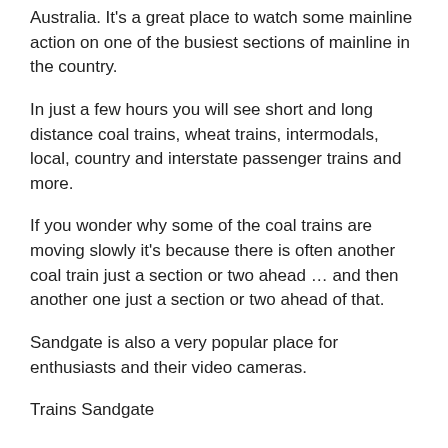Australia. It’s a great place to watch some mainline action on one of the busiest sections of mainline in the country.
In just a few hours you will see short and long distance coal trains, wheat trains, intermodals, local, country and interstate passenger trains and more.
If you wonder why some of the coal trains are moving slowly it’s because there is often another coal train just a section or two ahead … and then another one just a section or two ahead of that.
Sandgate is also a very popular place for enthusiasts and their video cameras.
Trains Sandgate